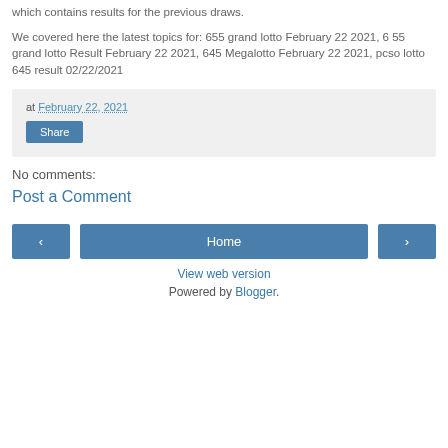which contains results for the previous draws.
We covered here the latest topics for: 655 grand lotto February 22 2021, 6 55 grand lotto Result February 22 2021, 645 Megalotto February 22 2021, pcso lotto 645 result 02/22/2021
at February 22, 2021
Share
No comments:
Post a Comment
‹
Home
›
View web version
Powered by Blogger.